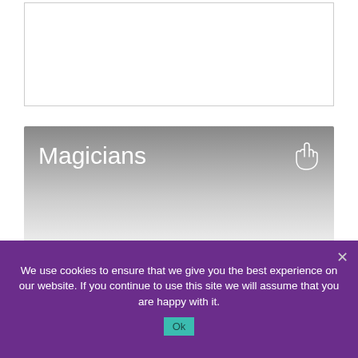[Figure (other): White empty box with light gray border]
[Figure (other): Gray gradient banner with the text 'Magicians' in white and a hand pointer icon on the right]
We use cookies to ensure that we give you the best experience on our website. If you continue to use this site we will assume that you are happy with it.
Ok